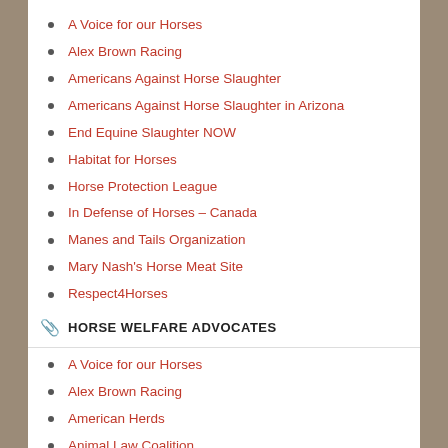A Voice for our Horses
Alex Brown Racing
Americans Against Horse Slaughter
Americans Against Horse Slaughter in Arizona
End Equine Slaughter NOW
Habitat for Horses
Horse Protection League
In Defense of Horses – Canada
Manes and Tails Organization
Mary Nash's Horse Meat Site
Respect4Horses
Shedrow Confessions
HORSE WELFARE ADVOCATES
A Voice for our Horses
Alex Brown Racing
American Herds
Animal Law Coalition
Corolla Wild Horse Fund